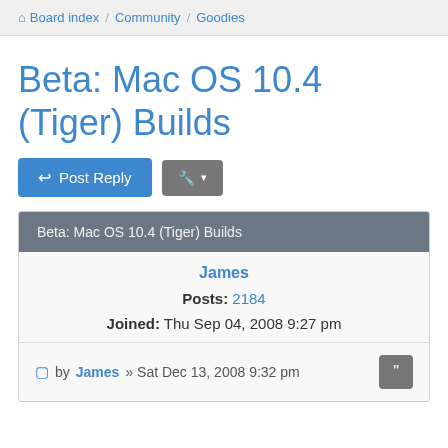Board index / Community / Goodies
Beta: Mac OS 10.4 (Tiger) Builds
Post Reply  [tools dropdown]
Beta: Mac OS 10.4 (Tiger) Builds
James
Posts: 2184
Joined: Thu Sep 04, 2008 9:27 pm
by James » Sat Dec 13, 2008 9:32 pm